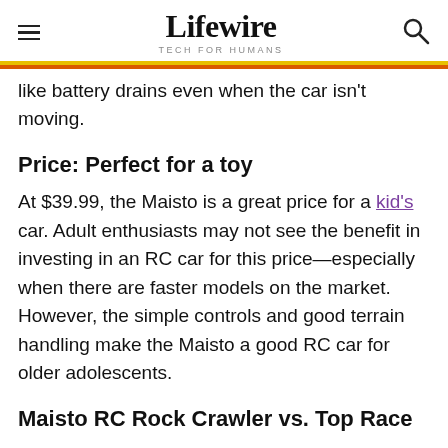Lifewire TECH FOR HUMANS
like battery drains even when the car isn't moving.
Price: Perfect for a toy
At $39.99, the Maisto is a great price for a kid's car. Adult enthusiasts may not see the benefit in investing in an RC car for this price—especially when there are faster models on the market. However, the simple controls and good terrain handling make the Maisto a good RC car for older adolescents.
Maisto RC Rock Crawler vs. Top Race…